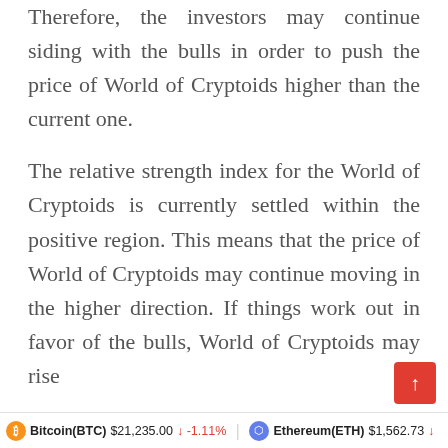Therefore, the investors may continue siding with the bulls in order to push the price of World of Cryptoids higher than the current one.
The relative strength index for the World of Cryptoids is currently settled within the positive region. This means that the price of World of Cryptoids may continue moving in the higher direction. If things work out in favor of the bulls, World of Cryptoids may rise to $0.00
Bitcoin(BTC) $21,235.00 ↓ -1.11%   Ethereum(ETH) $1,562.73 ↓